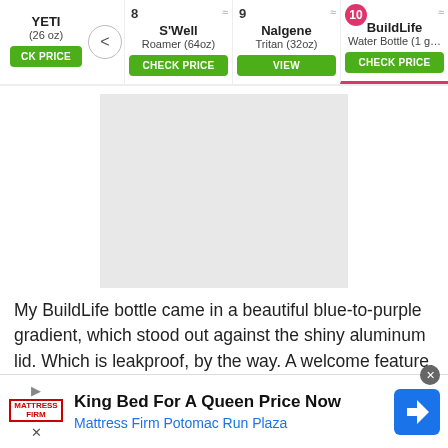[Figure (screenshot): Product navigation bar showing items 7 (YETI 26oz), 8 (S'Well Roamer 64oz), 9 (Nalgene Tritan 32oz), 10 (BuildLife Water Bottle 1g) with CHECK PRICE and VIEW buttons]
[Figure (photo): Gray placeholder image area for BuildLife Water Bottle product photo]
My BuildLife bottle came in a beautiful blue-to-purple gradient, which stood out against the shiny aluminum lid. Which is leakproof, by the way. A welcome feature, since the stakes are higher when you spill a jug of this
[Figure (screenshot): Advertisement banner: King Bed For A Queen Price Now - Mattress Firm Potomac Run Plaza]